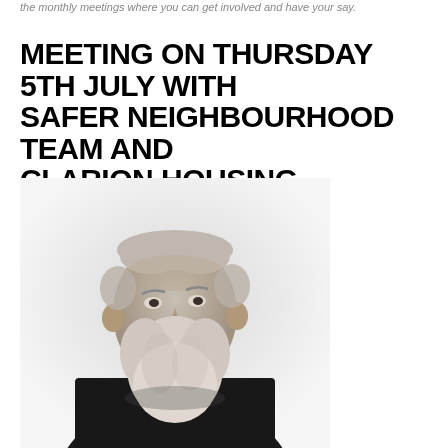the monthly meetings where you can get involved and have your say.
MEETING ON THURSDAY 5TH JULY WITH SAFER NEIGHBOURHOOD TEAM AND CLARION HOUSING
by Committee • Uncategorized
[Figure (photo): Black and white portrait photograph of an elderly man with a white beard wearing a dark suit and bow tie]